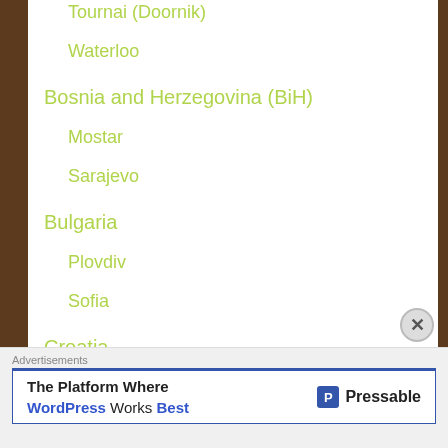Tournai (Doornik)
Waterloo
Bosnia and Herzegovina (BiH)
Mostar
Sarajevo
Bulgaria
Plovdiv
Sofia
Croatia
Dubrovnik
Advertisements
The Platform Where WordPress Works Best — Pressable